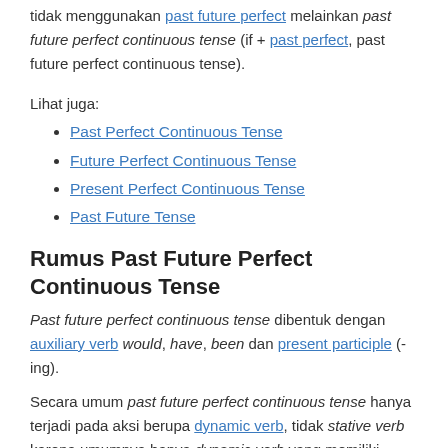tidak menggunakan past future perfect melainkan past future perfect continuous tense (if + past perfect, past future perfect continuous tense).
Lihat juga:
Past Perfect Continuous Tense
Future Perfect Continuous Tense
Present Perfect Continuous Tense
Past Future Tense
Rumus Past Future Perfect Continuous Tense
Past future perfect continuous tense dibentuk dengan auxiliary verb would, have, been dan present participle (-ing).
Secara umum past future perfect continuous tense hanya terjadi pada aksi berupa dynamic verb, tidak stative verb karena umumnya hanya dynamic verb yang memiliki